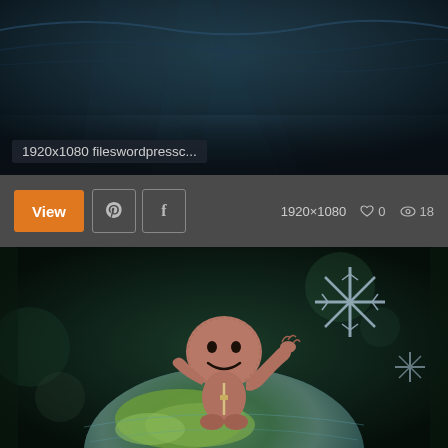[Figure (screenshot): Screenshot of a wallpaper website UI showing two wallpaper images. Top image shows a dark underwater/ocean scene. Bottom image shows Sackboy character from LittleBigPlanet sitting on a miniature Earth globe, waving. UI includes a toolbar with View button, Pinterest and Facebook share buttons, image dimensions (1920×1080), heart/like count (0), and view count (18). Image label reads '1920x1080 fileswordpressc...']